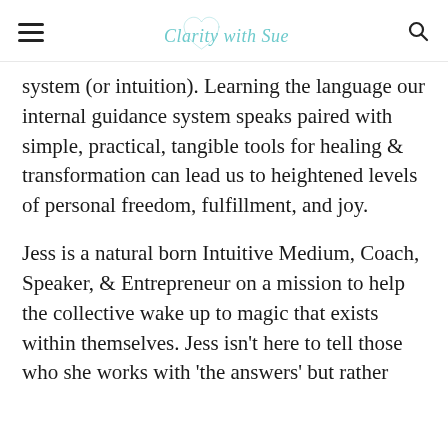Clarity with Sue
system (or intuition). Learning the language our internal guidance system speaks paired with simple, practical, tangible tools for healing & transformation can lead us to heightened levels of personal freedom, fulfillment, and joy.
Jess is a natural born Intuitive Medium, Coach, Speaker, & Entrepreneur on a mission to help the collective wake up to magic that exists within themselves. Jess isn't here to tell those who she works with 'the answers' but rather